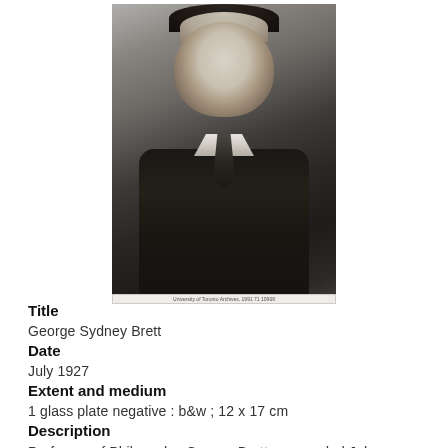[Figure (photo): Black and white portrait photograph of George Sydney Brett, a man in a dark suit with tie, taken July 1927. Small caption text at bottom of photo.]
Title
George Sydney Brett
Date
July 1927
Extent and medium
1 glass plate negative : b&w ; 12 x 17 cm
Description
Professor of Philosophy, George Brett, succeeded John McLennan as Dean of the graduate school in 1933. He was